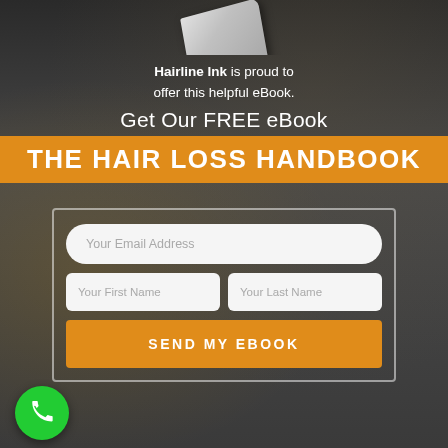[Figure (screenshot): Dark blurred background with a book/eBook graphic at the top]
Hairline Ink is proud to offer this helpful eBook.
Get Our FREE eBook
THE HAIR LOSS HANDBOOK
[Figure (infographic): Form box with email, first name, last name fields and an orange SEND MY EBOOK button]
[Figure (other): Green circular phone/call button at bottom left]